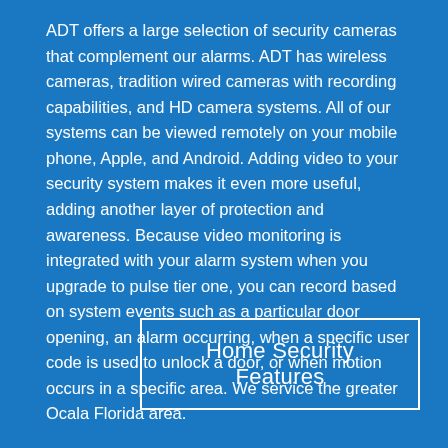ADT offers a large selection of security cameras that complement our alarms. ADT has wireless cameras, tradition wired cameras with recording capabilities, and HD camera systems. All of our systems can be viewed remotely on your mobile phone, Apple, and Android. Adding video to your security system makes it even more useful, adding another layer of protection and awareness. Because video monitoring is integrated with your alarm system when you upgrade to pulse tier one, you can record based on system events such as a particular door opening, an alarm occurring, when a specific user code is used to unlock a door, or when motion occurs in a specific area. We service the greater Ocala Florida area.
Home Security Features